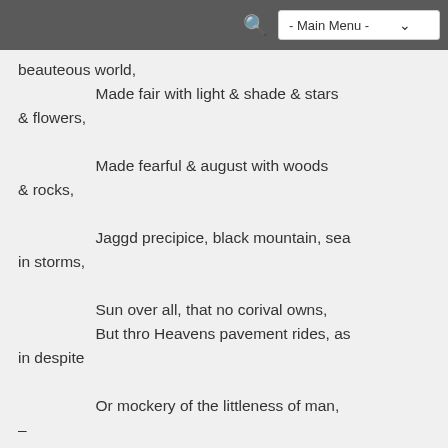- Main Menu -
beauteous world,
    Made fair with light & shade & stars
& flowers,
    Made fearful & august with woods
& rocks,
    Jaggd precipice, black mountain, sea
in storms,
    Sun over all, that no corival owns,
    But thro Heavens pavement rides, as
in despite
    Or mockery of the littleness of man,
–
    I see a mighty arm, by Man unseen,
    Resistless, not to be controuled, that
guides
    In solitude of unshared energies,
    All these thy ceaseless miracles, o